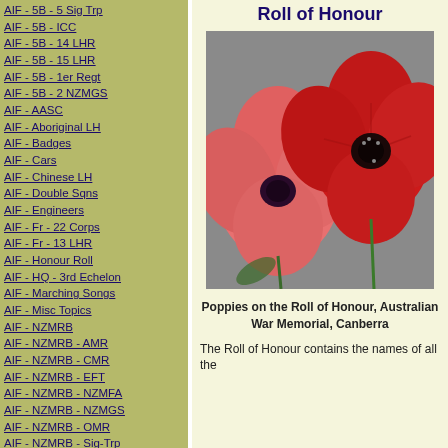AIF - 5B - 5 Sig Trp
AIF - 5B - ICC
AIF - 5B - 14 LHR
AIF - 5B - 15 LHR
AIF - 5B - 1er Regt
AIF - 5B - 2 NZMGS
AIF - AASC
AIF - Aboriginal LH
AIF - Badges
AIF - Cars
AIF - Chinese LH
AIF - Double Sqns
AIF - Engineers
AIF - Fr - 22 Corps
AIF - Fr - 13 LHR
AIF - Honour Roll
AIF - HQ - 3rd Echelon
AIF - Marching Songs
AIF - Misc Topics
AIF - NZMRB
AIF - NZMRB - AMR
AIF - NZMRB - CMR
AIF - NZMRB - EFT
AIF - NZMRB - NZMFA
AIF - NZMRB - NZMGS
AIF - NZMRB - OMR
AIF - NZMRB - Sig-Trp
AIF - NZMRB - WMR
Roll of Honour
[Figure (photo): Red poppies photographed close-up, resting on a surface, representing the Roll of Honour at the Australian War Memorial, Canberra]
Poppies on the Roll of Honour, Australian War Memorial, Canberra
The Roll of Honour contains the names of all the